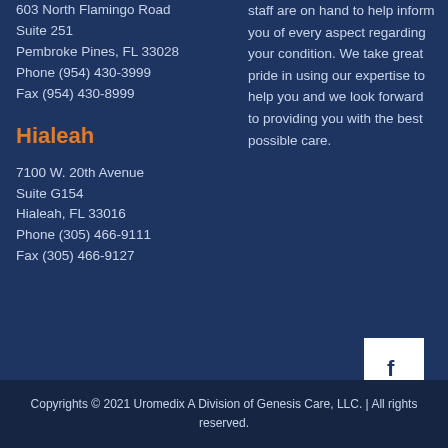603 North Flamingo Road
Suite 251
Pembroke Pines, FL 33028
Phone (954) 430-3999
Fax (954) 430-8999
Hialeah
7100 W. 20th Avenue
Suite G154
Hialeah, FL 33016
Phone (305) 466-9111
Fax (305) 466-9127
staff are on hand to help inform you of every aspect regarding your condition. We take great pride in using our expertise to help you and we look forward to providing you with the best possible care.
[Figure (logo): Facebook icon: white letter f on white square background]
Copyrights © 2021 Uromedix A Division of Genesis Care, LLC. | All rights reserved.